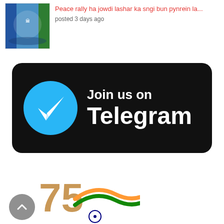[Figure (screenshot): Thumbnail image of a government/organization logo with blue and green flag]
Peace rally ha jowdi lashar ka sngi bun pynrein la...
posted 3 days ago
[Figure (infographic): Black rounded rectangle banner with Telegram logo (cyan circle with white paper plane) and text 'Join us on Telegram' in white bold font]
[Figure (logo): India 75th Independence celebration logo with tricolor flag and Ashoka Chakra, with a circular grey scroll-to-top button]